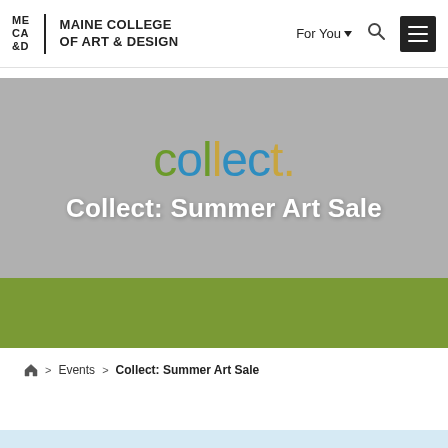MECA&D | MAINE COLLEGE OF ART & DESIGN — Navigation: For You, Search, Menu
[Figure (screenshot): Hero banner with 'collect.' logo in teal/olive/gold colors and title 'Collect: Summer Art Sale' in white on grey background]
Collect: Summer Art Sale
Home > Events > Collect: Summer Art Sale